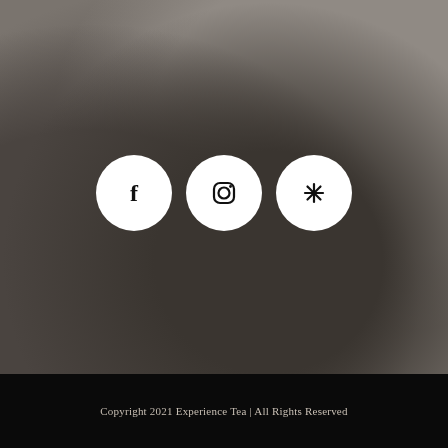[Figure (illustration): Three white circular social media icon buttons (Facebook, Instagram, Yelp) centered on a blurred dark olive/taupe background]
Copyright 2021 Experience Tea | All Rights Reserved